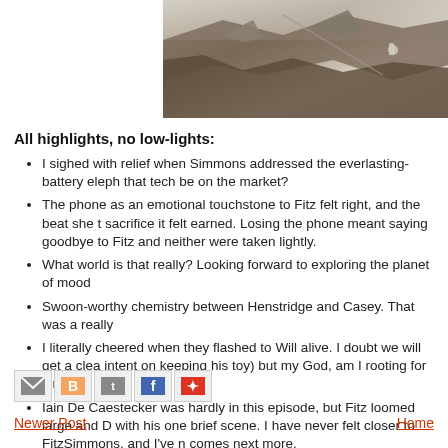[Figure (photo): Black and white photograph of rocky terrain with a figure visible, cropped at top of page]
All highlights, no low-lights:
I sighed with relief when Simmons addressed the everlasting-battery elephant in the room. When will that tech be on the market?
The phone as an emotional touchstone to Fitz felt right, and the beat she took before making the sacrifice it felt earned. Losing the phone meant saying goodbye to Fitz and neither were taken lightly.
What world is that really? Looking forward to exploring the planet of mood
Swoon-worthy chemistry between Henstridge and Casey. That was a really
I literally cheered when they flashed to Will alive. I doubt we will get a clea intent on keeping his toy) but my God, am I rooting for him.
Iain De Caestecker was hardly in this episode, but Fitz loomed large and D with his one brief scene. I have never felt closer to FitzSimmons, and I've n comes next more.
[Figure (other): Social media share icons: email, blogger, twitter, facebook, pinterest]
Newer Post    Home